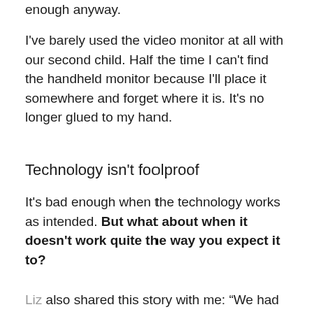enough anyway.
I've barely used the video monitor at all with our second child. Half the time I can't find the handheld monitor because I'll place it somewhere and forget where it is. It's no longer glued to my hand.
Technology isn't foolproof
It's bad enough when the technology works as intended. But what about when it doesn't work quite the way you expect it to?
Liz also shared this story with me: “We had